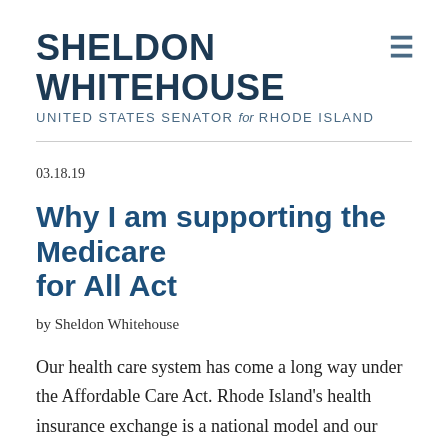SHELDON WHITEHOUSE
UNITED STATES SENATOR for RHODE ISLAND
03.18.19
Why I am supporting the Medicare for All Act
by Sheldon Whitehouse
Our health care system has come a long way under the Affordable Care Act. Rhode Island's health insurance exchange is a national model and our